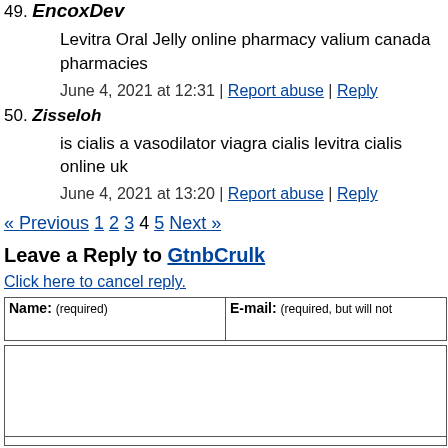49. EncoxDev
Levitra Oral Jelly online pharmacy valium canada pharmacies
June 4, 2021 at 12:31 | Report abuse | Reply
50. Zisseloh
is cialis a vasodilator viagra cialis levitra cialis online uk
June 4, 2021 at 13:20 | Report abuse | Reply
« Previous 1 2 3 4 5 Next »
Leave a Reply to GtnbCrulk
Click here to cancel reply.
Name: (required)   E-mail: (required, but will not be published)
CNN welcomes a lively and courteous discussion as long as you follow the Rules of our Terms of Service. Comments are not pre-screened before they post. You agree